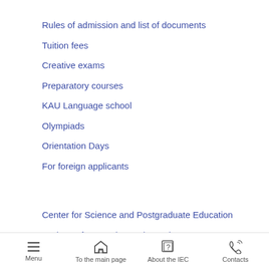Rules of admission and list of documents
Tuition fees
Creative exams
Preparatory courses
KAU Language school
Olympiads
Orientation Days
For foreign applicants
Center for Science and Postgraduate Education
Institute of Innovation and Supplementary Education
Menu  To the main page  About the IEC  Contacts